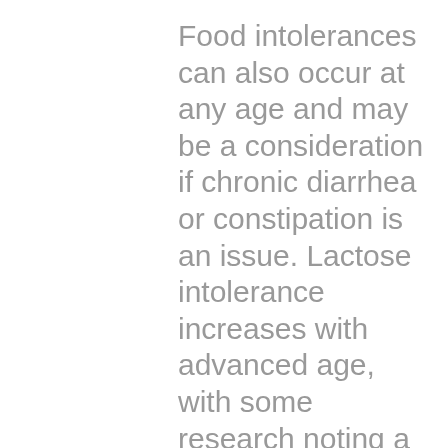Food intolerances can also occur at any age and may be a consideration if chronic diarrhea or constipation is an issue. Lactose intolerance increases with advanced age, with some research noting a 50% occurrence in elderly subjects. Celiac disease is also increasing in elderly populations, however, GI symptoms related to celiac disease tend to be subtler and often undiagnosed.  Consult with your doctor if you suspect a food intolerance.
Achieving a disease free, and healthy digestive state is